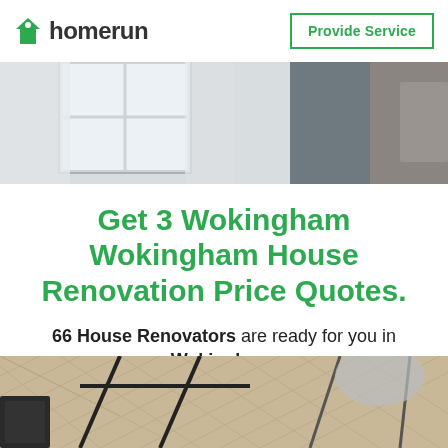homerun | Provide Service
[Figure (photo): Interior room scene with white curtains and grey wall]
Get 3 Wokingham Wokingham House Renovation Price Quotes.
66 House Renovators are ready for you in Wokingham.
GET 3 QUOTES
[Figure (photo): Room interior with herringbone wood floor and metal table frame]